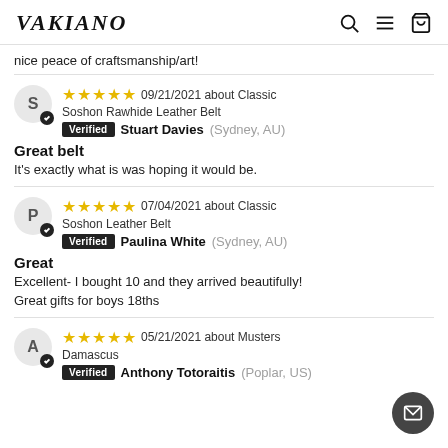VAKIANO
nice peace of craftsmanship/art!
09/21/2021 about Classic Soshon Rawhide Leather Belt
Verified Stuart Davies (Sydney, AU)
Great belt
It's exactly what is was hoping it would be.
07/04/2021 about Classic Soshon Leather Belt
Verified Paulina White (Sydney, AU)
Great
Excellent- I bought 10 and they arrived beautifully! Great gifts for boys 18ths
05/21/2021 about Musters Damascus
Verified Anthony Totoraitis (Poplar, US)